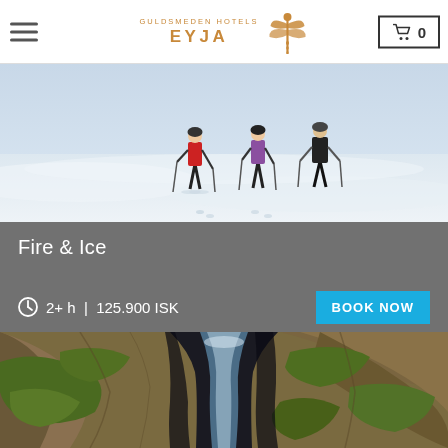Guldsmeden Hotels EYJA
[Figure (photo): Two people standing on a snowy landscape, viewed from a distance, with ski poles or equipment]
Fire & Ice
2+ h | 125.900 ISK
[Figure (photo): Aerial view of a deep canyon with a waterfall and green mossy rocky terrain in Iceland]